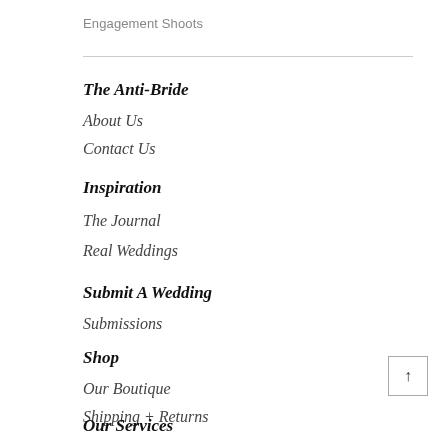Engagement Shoots
The Anti-Bride
About Us
Contact Us
Inspiration
The Journal
Real Weddings
Submit A Wedding
Submissions
Shop
Our Boutique
Shipping + Returns
Our Services